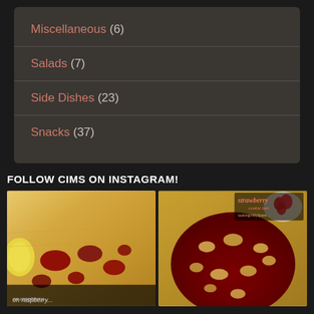Miscellaneous (6)
Salads (7)
Side Dishes (23)
Snacks (37)
FOLLOW CIMS ON INSTAGRAM!
[Figure (photo): Two Instagram food photos side by side: left shows a lemon raspberry cake slice, right shows a strawberry cookie tart with crumble topping and strawberry label overlay]